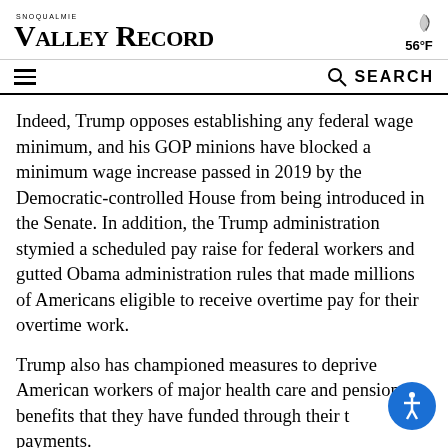SNOQUALMIE VALLEY RECORD — 56°F
SEARCH
Indeed, Trump opposes establishing any federal wage minimum, and his GOP minions have blocked a minimum wage increase passed in 2019 by the Democratic-controlled House from being introduced in the Senate. In addition, the Trump administration stymied a scheduled pay raise for federal workers and gutted Obama administration rules that made millions of Americans eligible to receive overtime pay for their overtime work.
Trump also has championed measures to deprive American workers of major health care and pension benefits that they have funded through their tax payments.